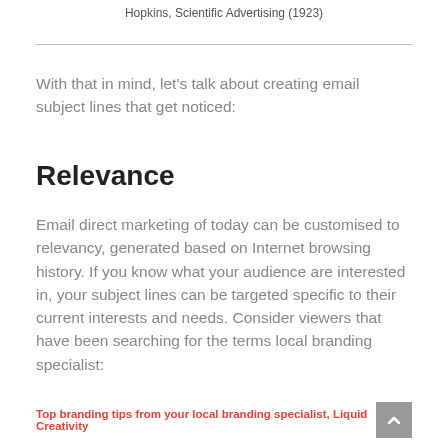Hopkins, Scientific Advertising (1923)
With that in mind, let's talk about creating email subject lines that get noticed:
Relevance
Email direct marketing of today can be customised to relevancy, generated based on Internet browsing history. If you know what your audience are interested in, your subject lines can be targeted specific to their current interests and needs. Consider viewers that have been searching for the terms local branding specialist:
Top branding tips from your local branding specialist, Liquid Creativity